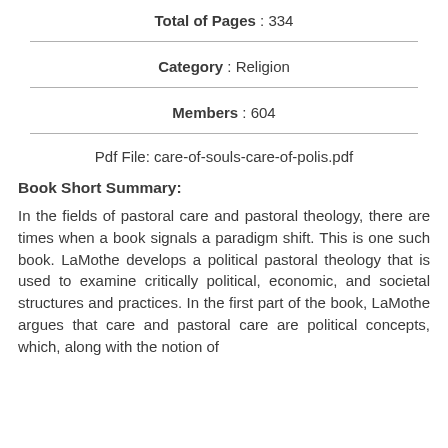Total of Pages : 334
Category : Religion
Members : 604
Pdf File: care-of-souls-care-of-polis.pdf
Book Short Summary:
In the fields of pastoral care and pastoral theology, there are times when a book signals a paradigm shift. This is one such book. LaMothe develops a political pastoral theology that is used to examine critically political, economic, and societal structures and practices. In the first part of the book, LaMothe argues that care and pastoral care are political concepts, which, along with the notion of